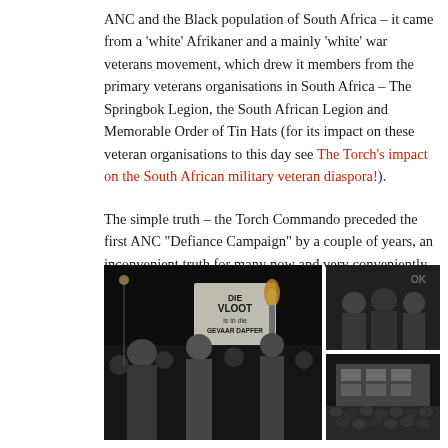ANC and the Black population of South Africa – it came from a 'white' Afrikaner and a mainly 'white' war veterans movement, which drew it members from the primary veterans organisations in South Africa – The Springbok Legion, the South African Legion and Memorable Order of Tin Hats (for its impact on these veteran organisations to this day see The Torch's impact on the South African military veteran diaspora!).
The simple truth – the Torch Commando preceded the first ANC "Defiance Campaign" by a couple of years, an inconvenient truth for many now and very conveniently forgotten.
[Figure (photo): Three black and white photographs: a large left photo showing men at a night protest holding a torch and a sign reading 'DIE VLOOT is in die GEVAAR DAPFER'; top right photo showing uniformed officials or military men; bottom right photo showing a large crowd gathered outside a building.]